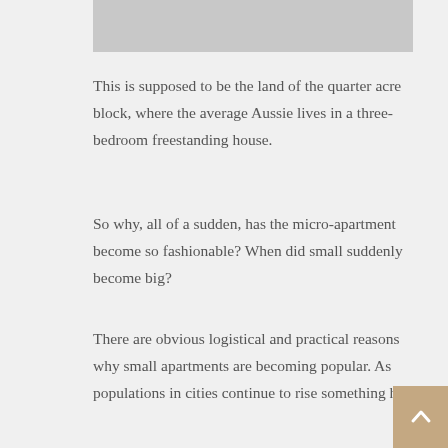[Figure (photo): Gray image bar at the top of the page]
This is supposed to be the land of the quarter acre block, where the average Aussie lives in a three-bedroom freestanding house.
So why, all of a sudden, has the micro-apartment become so fashionable? When did small suddenly become big?
There are obvious logistical and practical reasons why small apartments are becoming popular. As populations in cities continue to rise something has